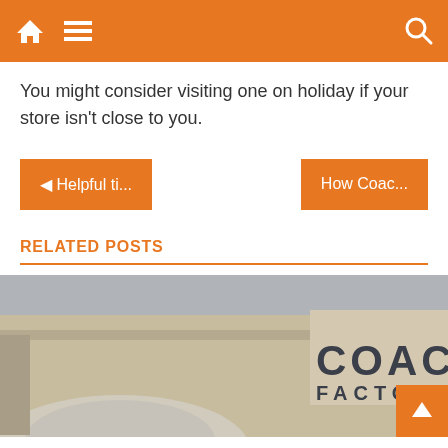Navigation bar with home, menu, and search icons
You might consider visiting one on holiday if your store isn't close to you.
◄ Helpful ti...
How Coac...
RELATED POSTS
[Figure (photo): Coach Factory store exterior sign photo]